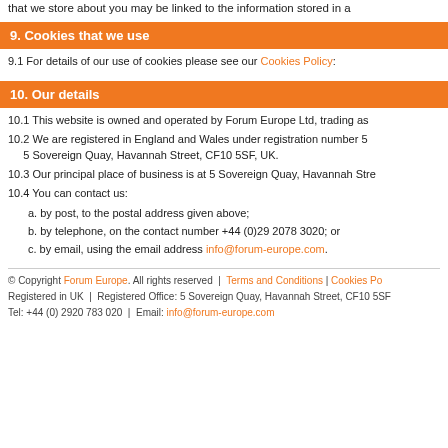that we store about you may be linked to the information stored in a
9. Cookies that we use
9.1 For details of our use of cookies please see our Cookies Policy:
10. Our details
10.1 This website is owned and operated by Forum Europe Ltd, trading as
10.2 We are registered in England and Wales under registration number 5 5 Sovereign Quay, Havannah Street, CF10 5SF, UK.
10.3 Our principal place of business is at 5 Sovereign Quay, Havannah Stre
10.4 You can contact us:
a. by post, to the postal address given above;
b. by telephone, on the contact number +44 (0)29 2078 3020; or
c. by email, using the email address info@forum-europe.com.
© Copyright Forum Europe. All rights reserved | Terms and Conditions | Cookies Po Registered in UK | Registered Office: 5 Sovereign Quay, Havannah Street, CF10 5SF Tel: +44 (0) 2920 783 020 | Email: info@forum-europe.com